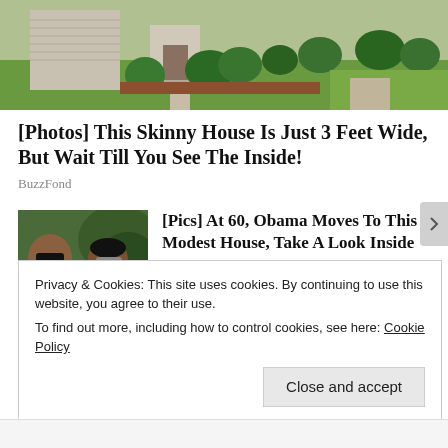[Figure (photo): Exterior photo of a house with green lawn, shrubs, and a concrete pathway leading to the front door]
[Photos] This Skinny House Is Just 3 Feet Wide, But Wait Till You See The Inside!
BuzzFond
[Figure (photo): Photo of two people - a man wearing sunglasses and a woman wearing sunglasses - outdoors with greenery in the background]
[Pics] At 60, Obama Moves To This Modest House, Take A Look Inside
BuzzAura
Privacy & Cookies: This site uses cookies. By continuing to use this website, you agree to their use.
To find out more, including how to control cookies, see here: Cookie Policy
Close and accept